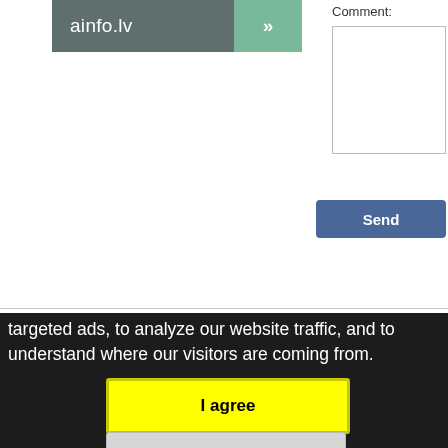[Figure (logo): ainfo.lv logo with green arrow button on grey background]
Comment:
[Figure (screenshot): Comment text input box (empty)]
[Figure (screenshot): Send button (blue/navy)]
About Webaptieka - How to make the order? - De Ethics Code - License - Methods of payment - Warra Contacts - Terms of use - Personal Data Processing Policy - Osteoporosis - About skin fungal infe
targeted ads, to analyze our website traffic, and to understand where our visitors are coming from.
[Figure (screenshot): I agree yellow button]
[Figure (screenshot): Change my preferences grey button]